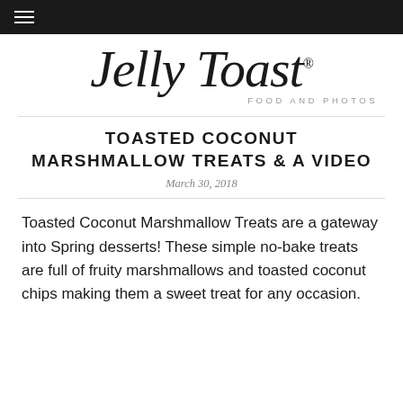≡
[Figure (logo): Jelly Toast cursive logo with tagline FOOD AND PHOTOS]
TOASTED COCONUT MARSHMALLOW TREATS & A VIDEO
March 30, 2018
Toasted Coconut Marshmallow Treats are a gateway into Spring desserts! These simple no-bake treats are full of fruity marshmallows and toasted coconut chips making them a sweet treat for any occasion.